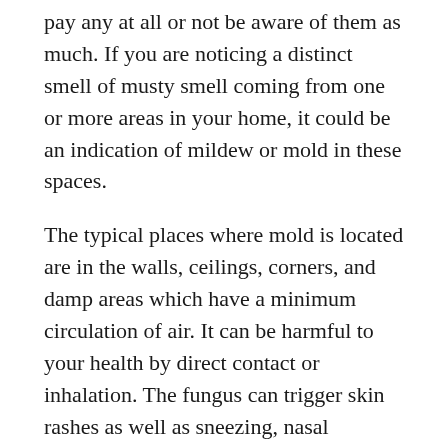pay any at all or not be aware of them as much. If you are noticing a distinct smell of musty smell coming from one or more areas in your home, it could be an indication of mildew or mold in these spaces.
The typical places where mold is located are in the walls, ceilings, corners, and damp areas which have a minimum circulation of air. It can be harmful to your health by direct contact or inhalation. The fungus can trigger skin rashes as well as sneezing, nasal congestion as well as irritation of the throat, red eyes, and many more.
To stop the spread of mold to prevent it from spreading, open the windows in the areas to ensure adequate airflow. Any objects that are already contaminated with